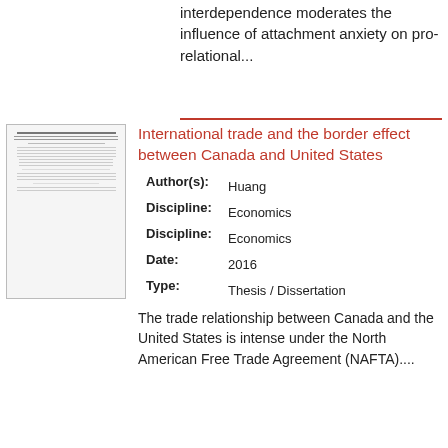interdependence moderates the influence of attachment anxiety on pro-relational...
[Figure (screenshot): Thumbnail of document page for 'International trade and the border effect between Canada and United States']
International trade and the border effect between Canada and United States
Author(s): Huang
Discipline: Economics
Discipline: Economics
Date: 2016
Type: Thesis / Dissertation
The trade relationship between Canada and the United States is intense under the North American Free Trade Agreement (NAFTA)....
[Figure (screenshot): Thumbnail of document page for 'The making of a labour activist: James W. Orr, Saint John, New Brunswick, 1936-2009']
The making of a labour activist: James W. Orr, Saint John, New Brunswick, 1936-2009
Author(s): Stairs
Discipline: History